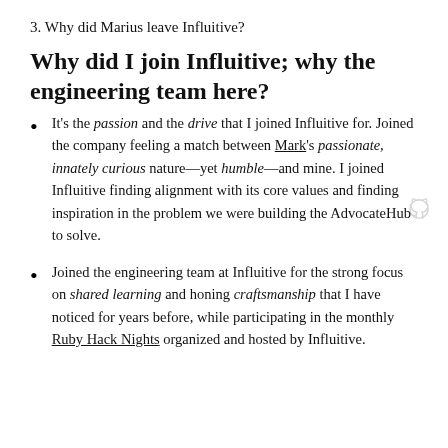3. Why did Marius leave Influitive?
Why did I join Influitive; why the engineering team here?
It's the passion and the drive that I joined Influitive for. Joined the company feeling a match between Mark's passionate, innately curious nature—yet humble—and mine. I joined Influitive finding alignment with its core values and finding inspiration in the problem we were building the AdvocateHub to solve.
Joined the engineering team at Influitive for the strong focus on shared learning and honing craftsmanship that I have noticed for years before, while participating in the monthly Ruby Hack Nights organized and hosted by Influitive.